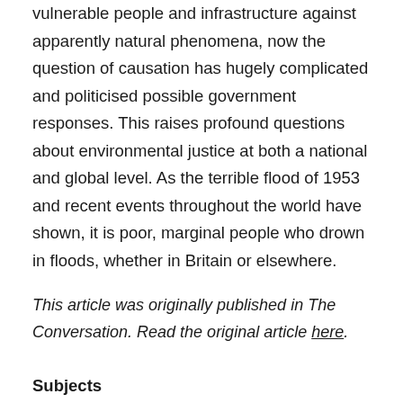vulnerable people and infrastructure against apparently natural phenomena, now the question of causation has hugely complicated and politicised possible government responses. This raises profound questions about environmental justice at both a national and global level. As the terrible flood of 1953 and recent events throughout the world have shown, it is poor, marginal people who drown in floods, whether in Britain or elsewhere.
This article was originally published in The Conversation. Read the original article here.
Subjects